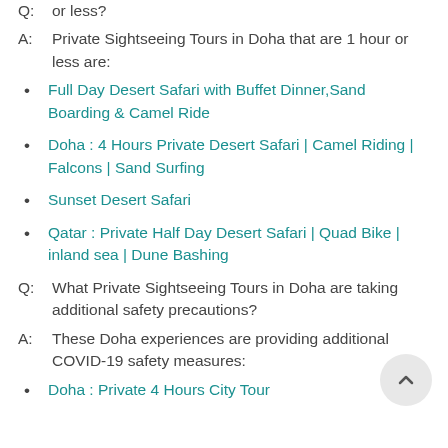Q: What Private Sightseeing Tours in Doha are 1 hour or less?
A: Private Sightseeing Tours in Doha that are 1 hour or less are:
Full Day Desert Safari with Buffet Dinner,Sand Boarding & Camel Ride
Doha : 4 Hours Private Desert Safari | Camel Riding | Falcons | Sand Surfing
Sunset Desert Safari
Qatar : Private Half Day Desert Safari | Quad Bike | inland sea | Dune Bashing
Q: What Private Sightseeing Tours in Doha are taking additional safety precautions?
A: These Doha experiences are providing additional COVID-19 safety measures:
Doha : Private 4 Hours City Tour